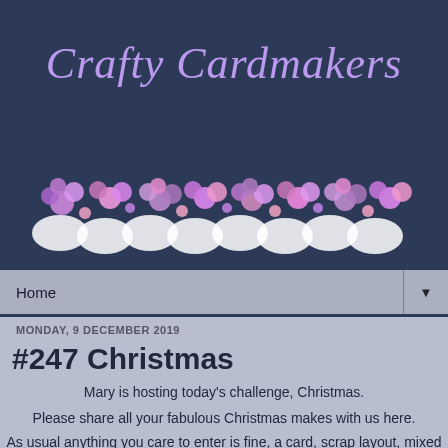Crafty Cardmakers
[Figure (illustration): Decorative flower border with purple and pink flowers and white lace-like background spanning the header area]
Home ▼
MONDAY, 9 DECEMBER 2019
#247 Christmas
Mary is hosting today's challenge, Christmas.
Please share all your fabulous Christmas makes with us here.
As usual anything you care to enter is fine, a card, scrap layout, mixed